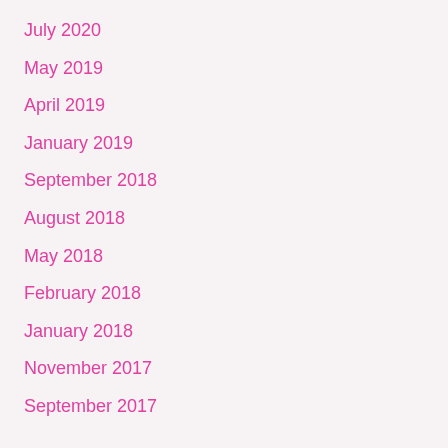July 2020
May 2019
April 2019
January 2019
September 2018
August 2018
May 2018
February 2018
January 2018
November 2017
September 2017